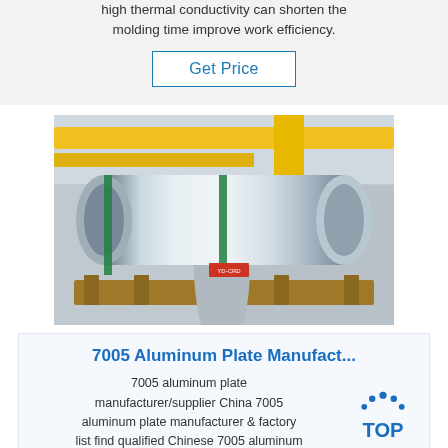high thermal conductivity can shorten the molding time improve work efficiency.
Get Price
[Figure (photo): Large aluminum coil/roll on wooden pallet in an industrial warehouse with yellow overhead cranes visible in the background]
7005 Aluminum Plate Manufact...
7005 aluminum plate manufacturer/supplier China 7005 aluminum plate manufacturer & factory list find qualified Chinese 7005 aluminum